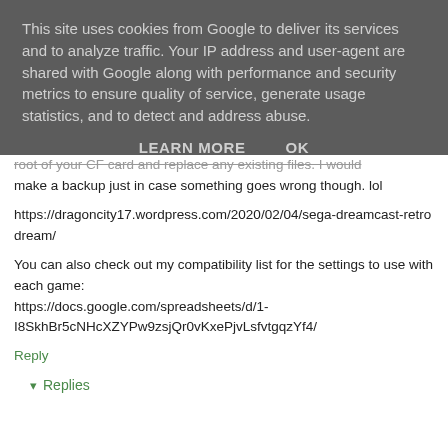This site uses cookies from Google to deliver its services and to analyze traffic. Your IP address and user-agent are shared with Google along with performance and security metrics to ensure quality of service, generate usage statistics, and to detect and address abuse.
LEARN MORE    OK
root of your CF card and replace any existing files. I would make a backup just in case something goes wrong though. lol
https://dragoncity17.wordpress.com/2020/02/04/sega-dreamcast-retrodream/
You can also check out my compatibility list for the settings to use with each game: https://docs.google.com/spreadsheets/d/1-I8SkhBr5cNHcXZYPw9zsjQr0vKxePjvLsfvtgqzYf4/
Reply
Replies